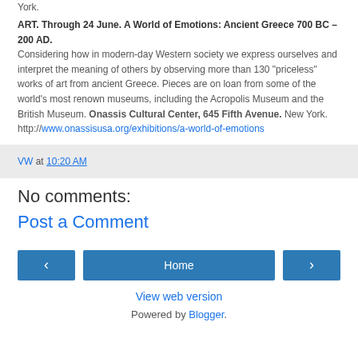York.
ART. Through 24 June. A World of Emotions: Ancient Greece 700 BC – 200 AD. Considering how in modern-day Western society we express ourselves and interpret the meaning of others by observing more than 130 "priceless" works of art from ancient Greece. Pieces are on loan from some of the world's most renown museums, including the Acropolis Museum and the British Museum. Onassis Cultural Center, 645 Fifth Avenue. New York. http://www.onassisusa.org/exhibitions/a-world-of-emotions
VW at 10:20 AM
No comments:
Post a Comment
‹  Home  ›
View web version
Powered by Blogger.